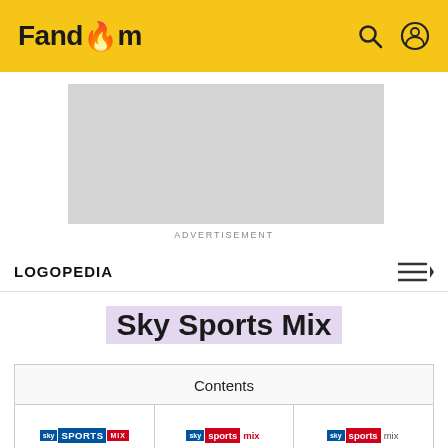Fandom
[Figure (other): Advertisement placeholder – gray rectangle]
ADVERTISEMENT
LOGOPEDIA
Sky Sports Mix
Contents
[Figure (logo): Sky Sports Mix logo variant 1 – blue block with SPORTS in bold, red MIX]
[Figure (logo): Sky Sports Mix logo variant 2 – sky blue text, red sports block, red mix]
[Figure (logo): Sky Sports Mix logo variant 3 – sky blue text, red sports block, gray mix]